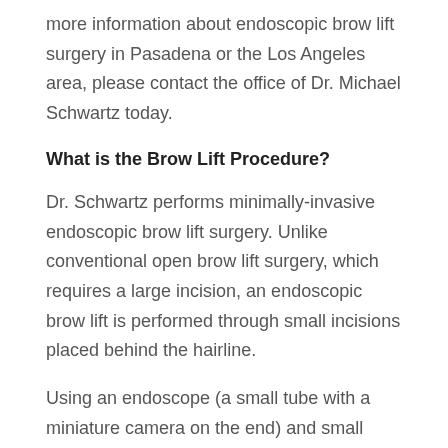more information about endoscopic brow lift surgery in Pasadena or the Los Angeles area, please contact the office of Dr. Michael Schwartz today.
What is the Brow Lift Procedure?
Dr. Schwartz performs minimally-invasive endoscopic brow lift surgery. Unlike conventional open brow lift surgery, which requires a large incision, an endoscopic brow lift is performed through small incisions placed behind the hairline.
Using an endoscope (a small tube with a miniature camera on the end) and small precision instruments, Dr. Schwartz is able to elevate the forehead and eyebrow tissues and reduce the muscles that cause frown lines. To complete the brow lift procedure, a small device no larger than a dime called an ENDOTINE™ is placed to fix the tissue in the new position above the hairline. The ENDOTINE™ is a small